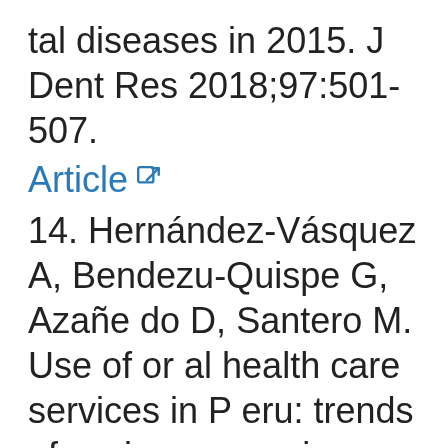tal diseases in 2015. J Dent Res 2018;97:501-507.
Article [external link]
14. Hernández-Vásquez A, Bendezu-Quispe G, Azañedo D, Santero M. Use of oral health care services in Peru: trends of socio-economic inequalities before and after the implementation of Universal Health Assuranc